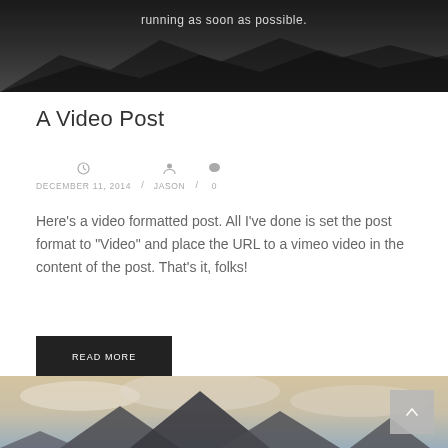[Figure (photo): Dark mountain landscape with text 'running as soon as possible.' overlaid in white at the top center]
A Video Post
DECEMBER 11, 2014  /  JASON  /  0
Here's a video formatted post. All I've done is set the post format to "Video" and place the URL to a vimeo video in the content of the post. That's it, folks!
READ MORE
[Figure (photo): Mountain landscape with cloudy sky, light colored sky with mountain peaks visible at the bottom]